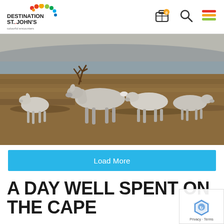Destination St. John's — colourful encounters
[Figure (photo): A herd of caribou/reindeer walking across a tundra landscape with brown grass and distant hills in the background.]
Load More
A DAY WELL SPENT ON THE CAPE